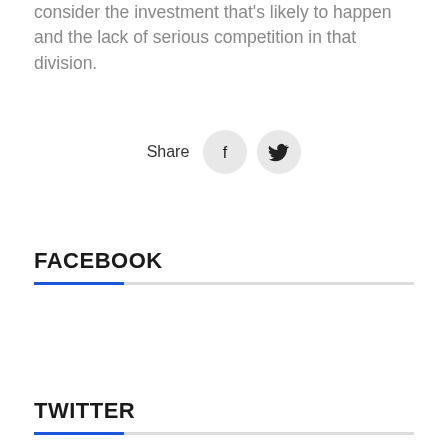consider the investment that's likely to happen and the lack of serious competition in that division.
[Figure (other): Share row with Facebook and Twitter icon buttons]
FACEBOOK
TWITTER